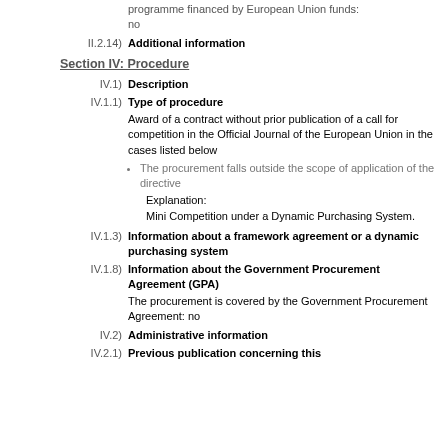programme financed by European Union funds: no
II.2.14) Additional information
Section IV: Procedure
IV.1) Description
IV.1.1) Type of procedure
Award of a contract without prior publication of a call for competition in the Official Journal of the European Union in the cases listed below
The procurement falls outside the scope of application of the directive
Explanation:
Mini Competition under a Dynamic Purchasing System.
IV.1.3) Information about a framework agreement or a dynamic purchasing system
IV.1.8) Information about the Government Procurement Agreement (GPA)
The procurement is covered by the Government Procurement Agreement: no
IV.2) Administrative information
IV.2.1) Previous publication concerning this